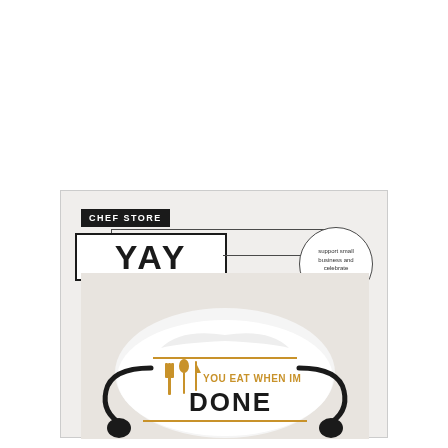[Figure (photo): Product card with 'CHEF STORE' label, 'YAY' text in bordered box, circle callout with small text reading 'support small business and celebrate thanksgiving', and a face mask product photo showing 'YOU EAT WHEN IM DONE' text with fork/spoon/knife graphic in gold/orange on white mask with black ear straps]
YAY
CHEF STORE
support small business and celebrate thanksgiving
YOU EAT WHEN IM DONE